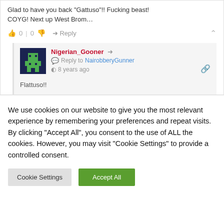Glad to have you back "Gattuso"!! Fucking beast! COYG! Next up West Brom…
👍 0 | 0 👎 ➜ Reply ∧
[Figure (illustration): Pixel art avatar of Nigerian_Gooner — dark navy background with green figure]
Nigerian_Gooner 🔗 Reply to NairobberyGunner 🕐 8 years ago
Flattuso!!
We use cookies on our website to give you the most relevant experience by remembering your preferences and repeat visits. By clicking "Accept All", you consent to the use of ALL the cookies. However, you may visit "Cookie Settings" to provide a controlled consent.
Cookie Settings | Accept All